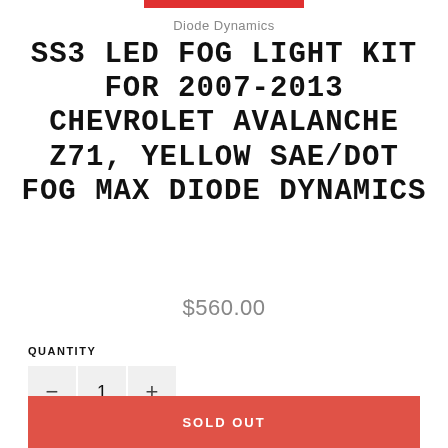Diode Dynamics
SS3 LED FOG LIGHT KIT FOR 2007-2013 CHEVROLET AVALANCHE Z71, YELLOW SAE/DOT FOG MAX DIODE DYNAMICS
$560.00
QUANTITY
1
SOLD OUT